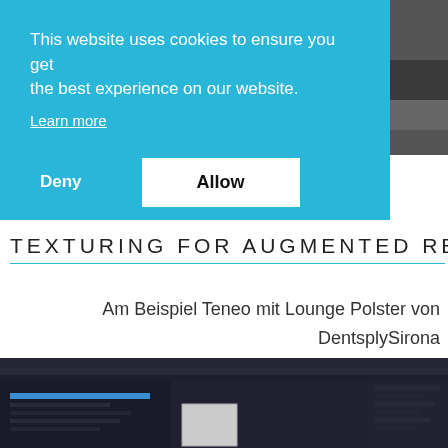This website uses cookies to ensure you get the best experience on our website.
Learn more
Deny
Allow
TEXTURING FOR AUGMENTED REALITY
Am Beispiel Teneo mit Lounge Polster von DentsplySirona
[Figure (screenshot): Software interface screenshot showing a 3D texturing/modeling application with dark UI theme, toolbars, panels, and a progress bar visible]